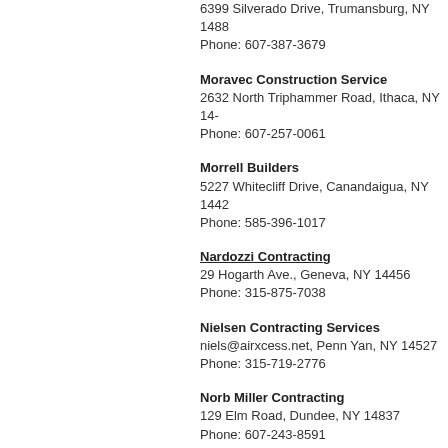6399 Silverado Drive, Trumansburg, NY 1488
Phone: 607-387-3679
Moravec Construction Service
2632 North Triphammer Road, Ithaca, NY 14-
Phone: 607-257-0061
Morrell Builders
5227 Whitecliff Drive, Canandaigua, NY 1442
Phone: 585-396-1017
Nardozzi Contracting
29 Hogarth Ave., Geneva, NY 14456
Phone: 315-875-7038
Nielsen Contracting Services
niels@airxcess.net, Penn Yan, NY 14527
Phone: 315-719-2776
Norb Miller Contracting
129 Elm Road, Dundee, NY 14837
Phone: 607-243-8591
Northrup Construction
38 North Main Street, Prattsburgh, NY 14873
Phone: 607-522-4475
O'Neill Building & Remodeling
205 Genesee Street, Auburn, NY 13021
Phone: 315-246-8780
Oakcrest Builders Inc.
67 Hurd Road, Freeville, NY 13068
Phone: 607-539-3399
Odd Jobs R US
, Penn Yan, NY 14527
Phone: 315-694-2934